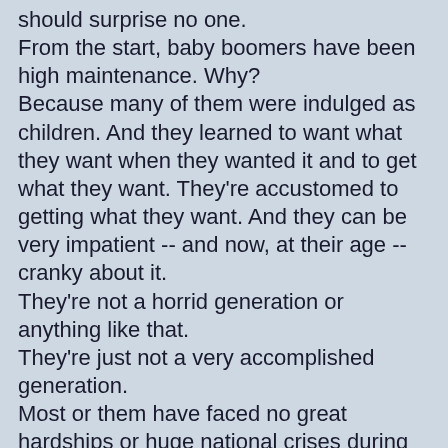should surprise no one.
From the start, baby boomers have been high maintenance. Why?
Because many of them were indulged as children. And they learned to want what they want when they wanted it and to get what they want. They're accustomed to getting what they want. And they can be very impatient -- and now, at their age -- cranky about it.
They're not a horrid generation or anything like that.
They're just not a very accomplished generation.
Most or them have faced no great hardships or huge national crises during their lifetimes. It's not like they lived through the Great Depression or fought World War II or anything like that. There not after all the greatest generation. Hardly.
And now they're headed into the final phase of their lives.
So, those baby boomers who've planned well are now at the age where they can spend a good part of the remainder of their lives pursuing leisure and travel.
I presume that the travel industry is ready for this and has planned accordingly.
These boomers are hitting the road and they expect to be treated with attentiveness and due deference.
Not because they've done anything great for society or the